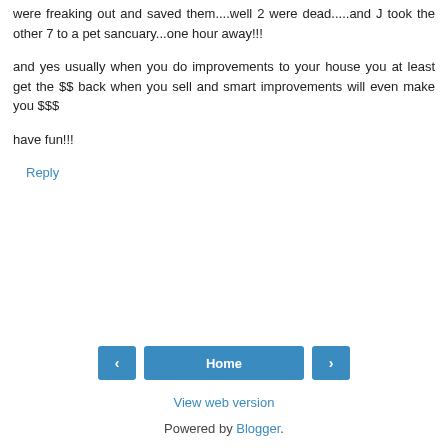were freaking out and saved them....well 2 were dead.....and J took the other 7 to a pet sancuary...one hour away!!!
and yes usually when you do improvements to your house you at least get the $$ back when you sell and smart improvements will even make you $$$
have fun!!!
Reply
Home
View web version
Powered by Blogger.